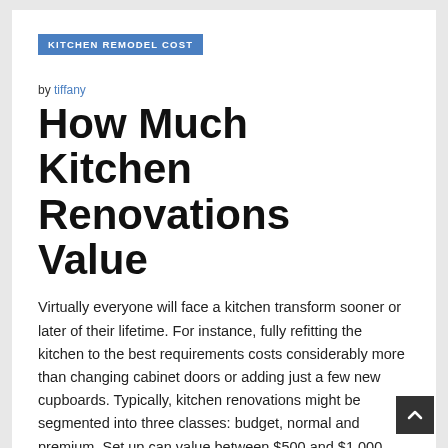KITCHEN REMODEL COST
by tiffany
How Much Kitchen Renovations Value
Virtually everyone will face a kitchen transform sooner or later of their lifetime. For instance, fully refitting the kitchen to the best requirements costs considerably more than changing cabinet doors or adding just a few new cupboards. Typically, kitchen renovations might be segmented into three classes: budget, normal and premium. Set up can value between $500 and $1,000, and that value will rely on how a lot work your contractor has already carried out.